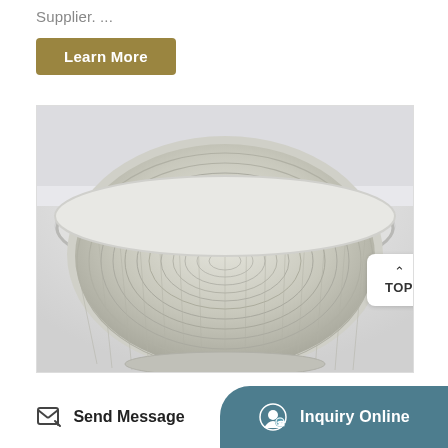Supplier. ...
Learn More
[Figure (photo): Close-up photograph of a dome-shaped woven mesh filter or strainer basket with a metallic silver appearance, viewed from above at an angle, set in a white cylindrical housing. A 'TOP' navigation button appears as an overlay in the upper right of the image.]
Send Message
Inquiry Online